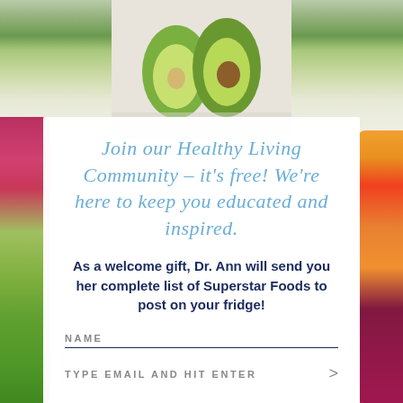[Figure (photo): Background photo of colorful vegetables and fruits including avocado halves at top center, beet and lettuce on left side, bell peppers and red cabbage on right side]
Join our Healthy Living Community - it's free! We're here to keep you educated and inspired.
As a welcome gift, Dr. Ann will send you her complete list of Superstar Foods to post on your fridge!
NAME
TYPE EMAIL AND HIT ENTER >